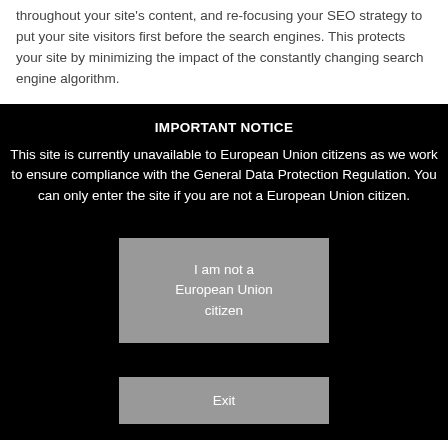throughout your site's content, and re-focusing your SEO strategy to put your site visitors first before the search engines. This protects your site by minimizing the impact of the constantly changing search engine algorithm.
IMPORTANT NOTICE
This site is currently unavailable to European Union citizens as we work to ensure compliance with the General Data Protection Regulation. You can only enter the site if you are not a European Union citizen.
I am not a European Union citizen
Exit